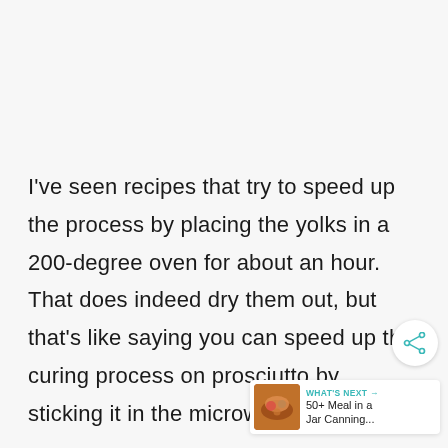I've seen recipes that try to speed up the process by placing the yolks in a 200-degree oven for about an hour. That does indeed dry them out, but that's like saying you can speed up the curing process on prosciutto by sticking it in the microwave.
[Figure (other): Share icon button (circular white button with share/network icon in teal)]
[Figure (other): What's Next promotional box showing a food image thumbnail and text '50+ Meal in a Jar Canning...']